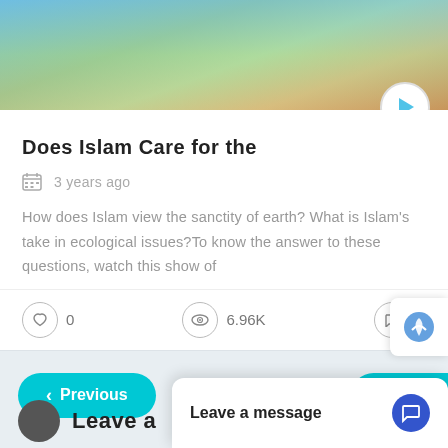[Figure (photo): Hands holding green plant with blue sky background, cropped at top]
Does Islam Care for the
3 years ago
How does Islam view the sanctity of earth? What is Islam's take in ecological issues?To know the answer to these questions, watch this show of
0  6.96K  0
< Previous
Next >
Leave a message
Leave a